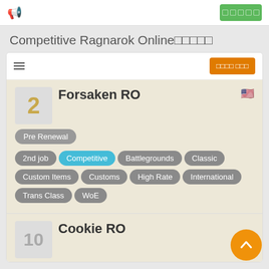Competitive Ragnarok Online□□□□□
□□□□ □□□
2
Forsaken RO
Pre Renewal
2nd job
Competitive
Battlegrounds
Classic
Custom Items
Customs
High Rate
International
Trans Class
WoE
10
Cookie RO